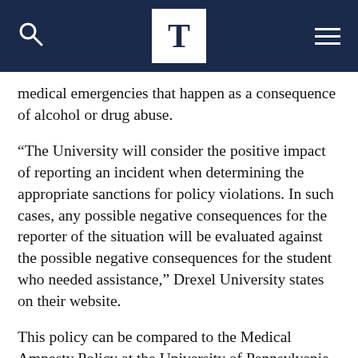T (The Triangle - Drexel University newspaper logo)
medical emergencies that happen as a consequence of alcohol or drug abuse.
“The University will consider the positive impact of reporting an incident when determining the appropriate sanctions for policy violations. In such cases, any possible negative consequences for the reporter of the situation will be evaluated against the possible negative consequences for the student who needed assistance,” Drexel University states on their website.
This policy can be compared to the Medical Amnesty Policy at the University of Pennsylvania. Their website states, “No student seeking medical treatment for an alcohol or other drug-related overdose will be subject